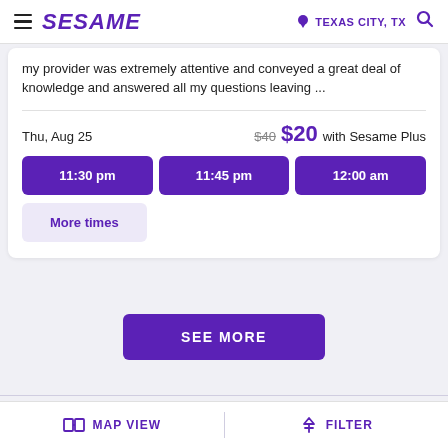SESAME | TEXAS CITY, TX
my provider was extremely attentive and conveyed a great deal of knowledge and answered all my questions leaving ...
Thu, Aug 25   $40 $20 with Sesame Plus
11:30 pm   11:45 pm   12:00 am
More times
SEE MORE
MAP VIEW   FILTER